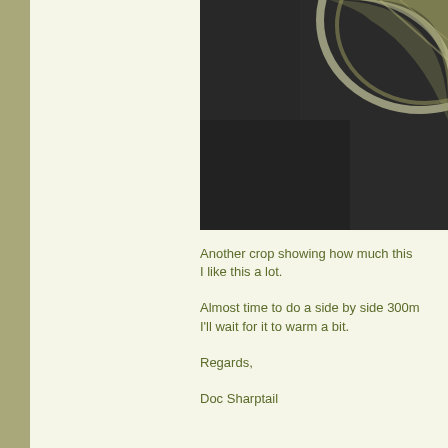[Figure (photo): Close-up crop of a glass bowl or lens with greenish tints, shot against a dark background]
Another crop showing how much this I like this a lot.
Almost time to do a side by side 300m I'll wait for it to warm a bit.
Regards,
Doc Sharptail